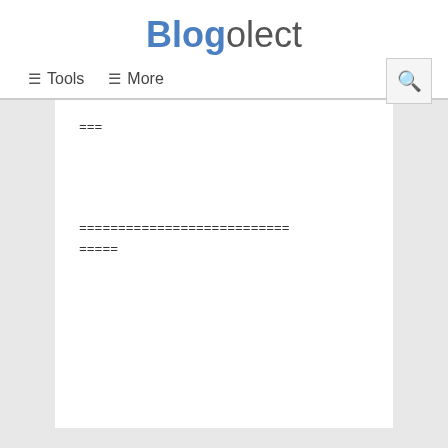Blogolect
☰ Tools  ☰ More
===
===========================
=====